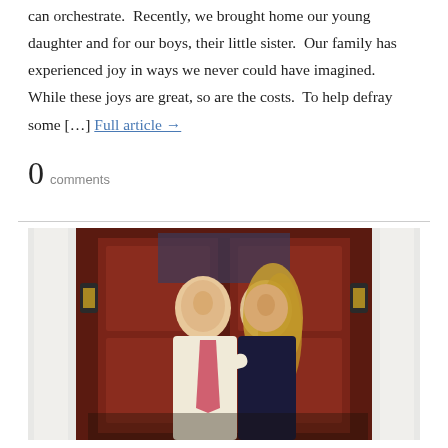can orchestrate.  Recently, we brought home our young daughter and for our boys, their little sister.  Our family has experienced joy in ways we never could have imagined.  While these joys are great, so are the costs.  To help defray some […] Full article →
0 comments
[Figure (photo): A couple posing together in front of a house with a dark red door and white columns. The man wears a light shirt and pink tie; the woman has long blonde hair and wears a dark dress. They are smiling and embracing.]